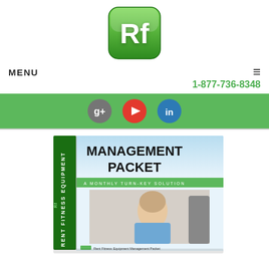[Figure (logo): Rent Fitness Equipment green Rf logo square with rounded corners]
MENU
1-877-736-8348
[Figure (illustration): Green social media bar with Google+, YouTube, and LinkedIn circular icons]
[Figure (photo): Management Packet book/box product image with a smiling man in a blue shirt on the cover and text MANAGEMENT PACKET A MONTHLY TURN-KEY SOLUTION on the side RENT FITNESS EQUIPMENT]